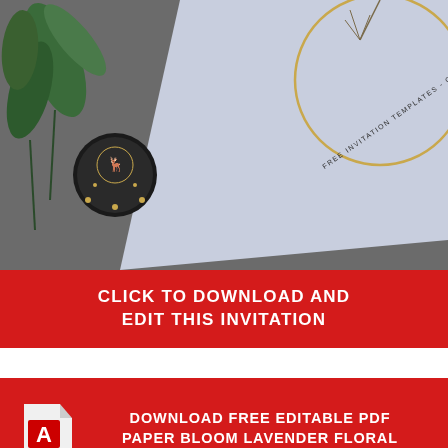[Figure (photo): Photo of invitation cards with gold circle design, wax seal, and green plant leaves on gray background. Text on card reads: FREE INVITATION TEMPLATES - OOLANPEDIA.COM]
CLICK TO DOWNLOAD AND EDIT THIS INVITATION
[Figure (logo): Adobe PDF file icon with acrobat logo]
DOWNLOAD FREE EDITABLE PDF PAPER BLOOM LAVENDER FLORAL INVITATION TEMPLATES
[Figure (photo): Photo of gray ceramic plate, white paper, and lavender floral invitation card with gold circle on dark gray background]